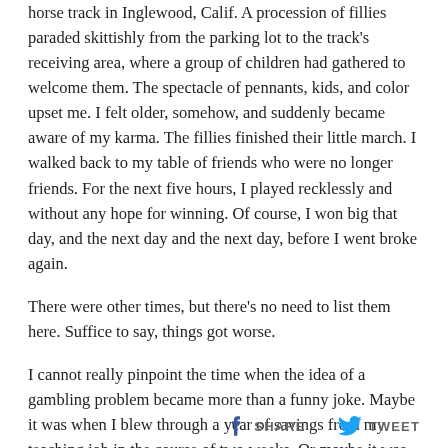horse track in Inglewood, Calif. A procession of fillies paraded skittishly from the parking lot to the track's receiving area, where a group of children had gathered to welcome them. The spectacle of pennants, kids, and color upset me. I felt older, somehow, and suddenly became aware of my karma. The fillies finished their little march. I walked back to my table of friends who were no longer friends. For the next five hours, I played recklessly and without any hope for winning. Of course, I won big that day, and the next day and the next day, before I went broke again.
There were other times, but there's no need to list them here. Suffice to say, things got worse.
I cannot really pinpoint the time when the idea of a gambling problem became more than a funny joke. Maybe it was when I blew through a year of savings from my teaching job in the course of two weeks. Or maybe it was when I had to pay for a half-gallon of gas in quarters. Maybe it was that day at
SHARE   TWEET